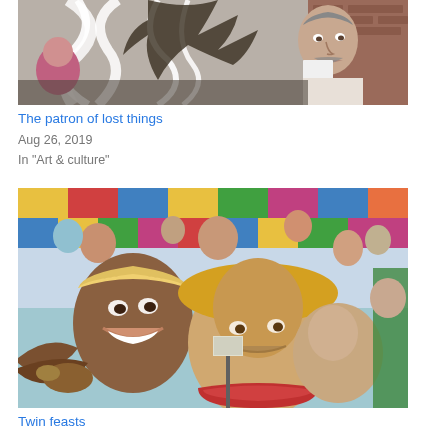[Figure (photo): A person holding white ribbons and decorative objects at what appears to be an outdoor event or parade, with others around them.]
The patron of lost things
Aug 26, 2019
In "Art & culture"
[Figure (photo): A colorful mural depicting a diverse crowd of people at what appears to be a market or feast scene, with expressive faces and festive imagery.]
Twin feasts
Aug 26, 2013
In "Boston"